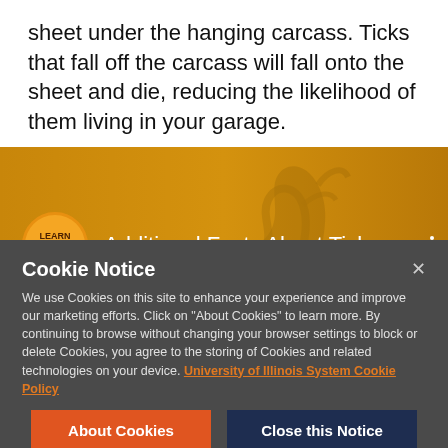sheet under the hanging carcass. Ticks that fall off the carcass will fall onto the sheet and die, reducing the likelihood of them living in your garage.
[Figure (screenshot): A video thumbnail from 'Learn to Hunt' showing title 'Additional Facts About Ticks' on an orange/gold gradient background with deer antler silhouette art]
Cookie Notice

We use Cookies on this site to enhance your experience and improve our marketing efforts. Click on "About Cookies" to learn more. By continuing to browse without changing your browser settings to block or delete Cookies, you agree to the storing of Cookies and related technologies on your device. University of Illinois System Cookie Policy